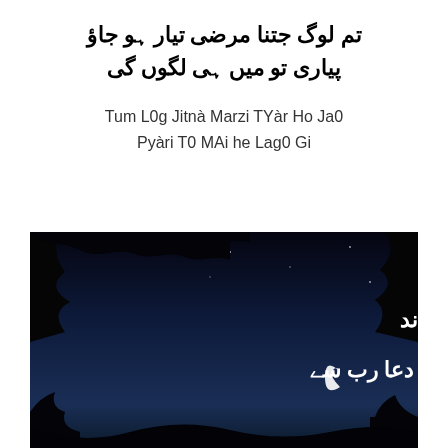تم لوگ جتنا مرضی تیار ہو جاؤ
پیاری تو میں ہی لگوں گی
Tum L0g Jitnà Marzi TYàr Ho Ja0
Pyàri T0 MAi he Lag0 Gi
[Figure (photo): Night sky photo with crescent moon and tree silhouettes, overlaid with white Urdu calligraphy text reading 'دیکھا عید کا چاند / تو مانگی دعا رب سے']